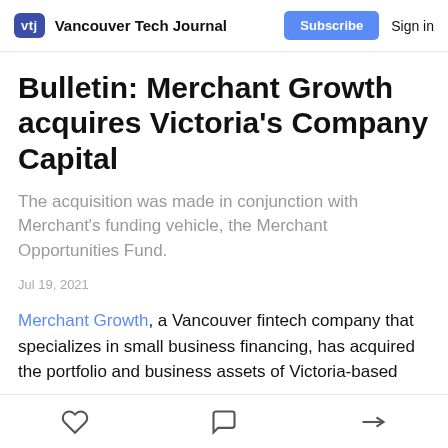vtj Vancouver Tech Journal | Subscribe | Sign in
Bulletin: Merchant Growth acquires Victoria's Company Capital
The acquisition was made in conjunction with Merchant's funding vehicle, the Merchant Opportunities Fund.
Jul 19, 2021
Merchant Growth, a Vancouver fintech company that specializes in small business financing, has acquired the portfolio and business assets of Victoria-based
Like | Comment | Share